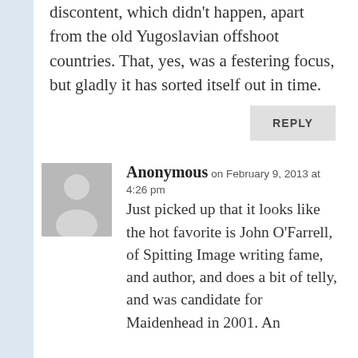discontent, which didn't happen, apart from the old Yugoslavian offshoot countries. That, yes, was a festering focus, but gladly it has sorted itself out in time.
REPLY
Anonymous on February 9, 2013 at 4:26 pm
Just picked up that it looks like the hot favorite is John O'Farrell, of Spitting Image writing fame, and author, and does a bit of telly, and was candidate for Maidenhead in 2001. An